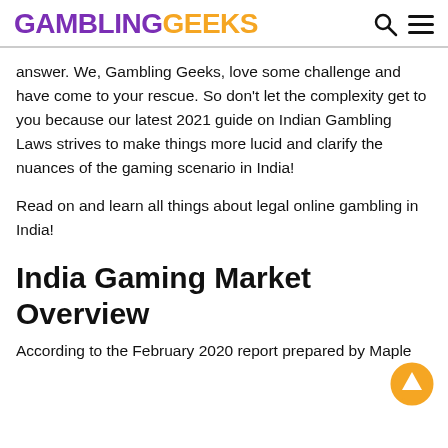GAMBLING GEEKS
answer. We, Gambling Geeks, love some challenge and have come to your rescue. So don't let the complexity get to you because our latest 2021 guide on Indian Gambling Laws strives to make things more lucid and clarify the nuances of the gaming scenario in India!
Read on and learn all things about legal online gambling in India!
India Gaming Market Overview
According to the February 2020 report prepared by Maple